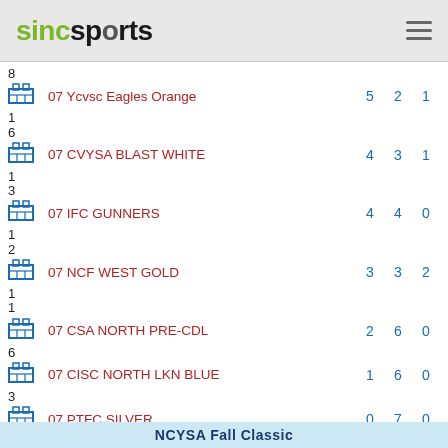sincsports
| Rank | Team | W | L | T |
| --- | --- | --- | --- | --- |
| 8 | 07 Ycvsc Eagles Orange | 5 | 2 | 1 |
| 16 | 07 CVYSA BLAST WHITE | 4 | 3 | 1 |
| 13 | 07 IFC GUNNERS | 4 | 4 | 0 |
| 12 | 07 NCF WEST GOLD | 3 | 3 | 2 |
| 11 | 07 CSA NORTH PRE-CDL | 2 | 6 | 0 |
| 6 | 07 CISC NORTH LKN BLUE | 1 | 6 | 0 |
| 3 | 07 PTFC SILVER | 0 | 7 | 0 |
NCYSA Fall Classic